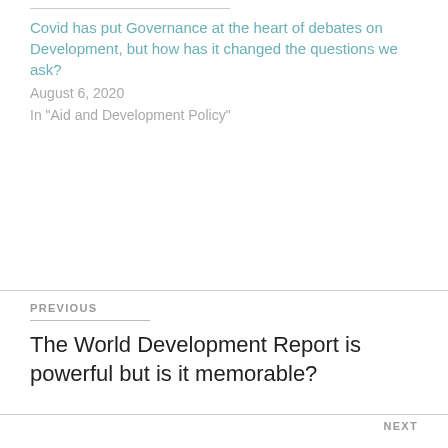Covid has put Governance at the heart of debates on Development, but how has it changed the questions we ask?
August 6, 2020
In "Aid and Development Policy"
PREVIOUS
The World Development Report is powerful but is it memorable?
NEXT